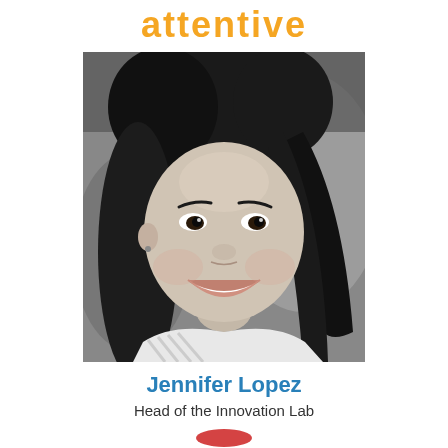attentive
[Figure (photo): Black and white portrait photo of a young woman smiling, with long dark hair, wearing a white striped top]
Jennifer Lopez
Head of the Innovation Lab
[Figure (logo): Partial logo visible at bottom center of page]